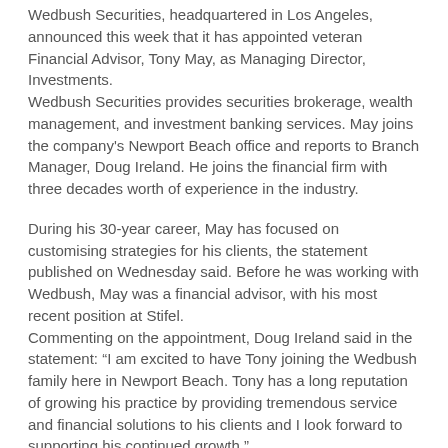Wedbush Securities, headquartered in Los Angeles, announced this week that it has appointed veteran Financial Advisor, Tony May, as Managing Director, Investments. Wedbush Securities provides securities brokerage, wealth management, and investment banking services. May joins the company's Newport Beach office and reports to Branch Manager, Doug Ireland. He joins the financial firm with three decades worth of experience in the industry.
During his 30-year career, May has focused on customising strategies for his clients, the statement published on Wednesday said. Before he was working with Wedbush, May was a financial advisor, with his most recent position at Stifel. Commenting on the appointment, Doug Ireland said in the statement: "I am excited to have Tony joining the Wedbush family here in Newport Beach. Tony has a long reputation of growing his practice by providing tremendous service and financial solutions to his clients and I look forward to supporting his continued growth."
Wedbush Securities continues to expand team
Wedbush Securities has been expanding its team in recent months. As , Frank Epinger was hired by the firm as Managing Director, Regional Executive of the Los Angeles Area. In the new role, Epinger is be based in the firm's LA headquarters and reports to Senior Vice President and Head of Private Wealth Management Branch Network, Don Gorsch.